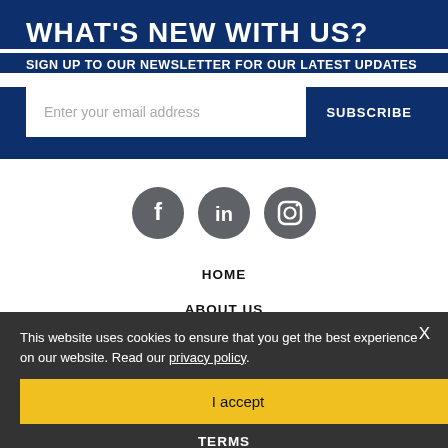WHAT'S NEW WITH US?
SIGN UP TO OUR NEWSLETTER FOR OUR LATEST UPDATES
Enter your email address
SUBSCRIBE
[Figure (illustration): Three circular social media icons: Facebook, LinkedIn, Instagram, all in dark grey]
HOME
ABOUT US
FAQS
This website uses cookies to ensure that you get the best experience on our website. Read our privacy policy.
I accept
TERMS
PRIVACY